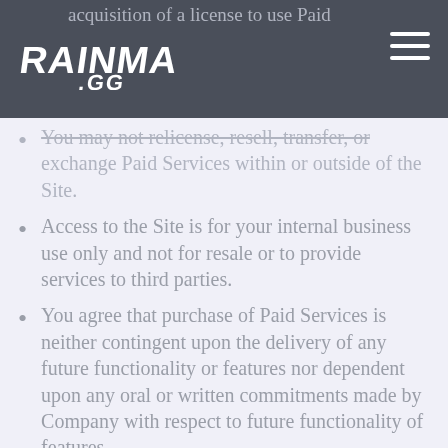acquisition of a license to use Paid Services.
[Figure (logo): Rainmaker.GG logo in white on dark background]
You may not relicense, resell, transfer, or exchange Paid Services within or outside of the Site.
Access to the Site is for your internal business use only and not for resale or to provide services to third parties.
You agree that purchase of Paid Services is neither contingent upon the delivery of any future functionality or features nor dependent upon any oral or written commitments made by Company with respect to future functionality of features.
Company may, in its sole discretion, modify the functionality of or eliminate Paid Services or the terms and conditions under which Paid